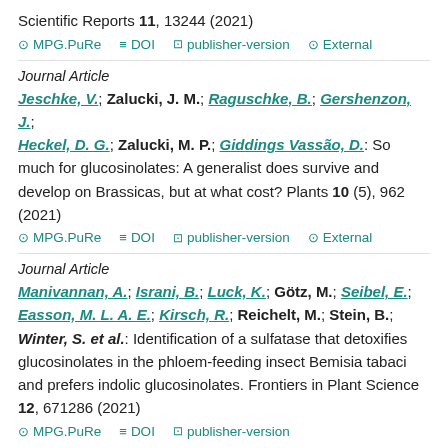Scientific Reports 11, 13244 (2021)
⊙ MPG.PuRe  ≡ DOI  ⊡ publisher-version  ⊙ External
Journal Article
Jeschke, V.; Zalucki, J. M.; Raguschke, B.; Gershenzon, J.; Heckel, D. G.; Zalucki, M. P.; Giddings Vassão, D.: So much for glucosinolates: A generalist does survive and develop on Brassicas, but at what cost? Plants 10 (5), 962 (2021)
⊙ MPG.PuRe  ≡ DOI  ⊡ publisher-version  ⊙ External
Journal Article
Manivannan, A.; Israni, B.; Luck, K.; Götz, M.; Seibel, E.; Easson, M. L. A. E.; Kirsch, R.; Reichelt, M.; Stein, B.; Winter, S. et al.: Identification of a sulfatase that detoxifies glucosinolates in the phloem-feeding insect Bemisia tabaci and prefers indolic glucosinolates. Frontiers in Plant Science 12, 671286 (2021)
⊙ MPG.PuRe  ≡ DOI  ⊡ publisher-version